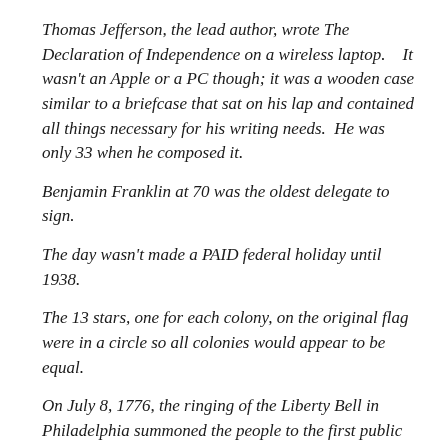Thomas Jefferson, the lead author, wrote The Declaration of Independence on a wireless laptop.    It wasn't an Apple or a PC though; it was a wooden case similar to a briefcase that sat on his lap and contained all things necessary for his writing needs.  He was only 33 when he composed it.
Benjamin Franklin at 70 was the oldest delegate to sign.
The day wasn't made a PAID federal holiday until 1938.
The 13 stars, one for each colony, on the original flag were in a circle so all colonies would appear to be equal.
On July 8, 1776, the ringing of the Liberty Bell in Philadelphia summoned the people to the first public reading.
The Liberty Bell was moved to present-day Allentown after Washington's defeat at Brandywine in September 1777.  It was hidden in a church beneath the floorboards to prevent capture by the British and being melted down and made